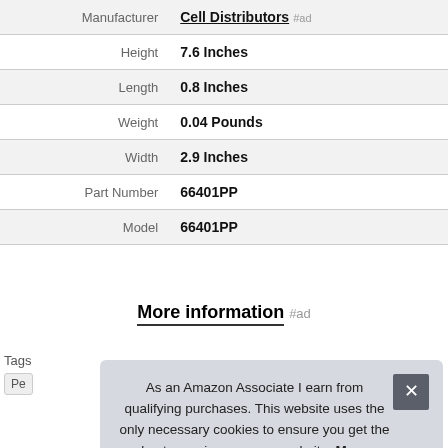| Label | Value |
| --- | --- |
| Manufacturer | Cell Distributors #ad |
| Height | 7.6 Inches |
| Length | 0.8 Inches |
| Weight | 0.04 Pounds |
| Width | 2.9 Inches |
| Part Number | 66401PP |
| Model | 66401PP |
More information #ad
Tags
Pe
As an Amazon Associate I earn from qualifying purchases. This website uses the only necessary cookies to ensure you get the best experience on our website. More information